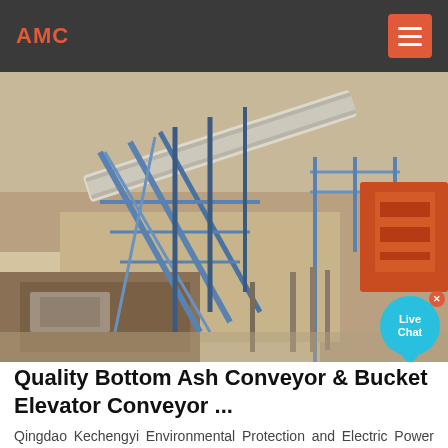AMC
[Figure (photo): Aerial/overhead view of industrial conveyor belt system with blue steel framework over earthen terrain, with orange machinery visible at right]
Quality Bottom Ash Conveyor & Bucket Elevator Conveyor ...
Qingdao Kechengyi Environmental Protection and Electric Power Technologies Co.,LTD is best Bottom Ash Conveyor, Bucket Elevator Conveyor and Submerged Scraper Conveyor supplier, we has good quality products & service from China.